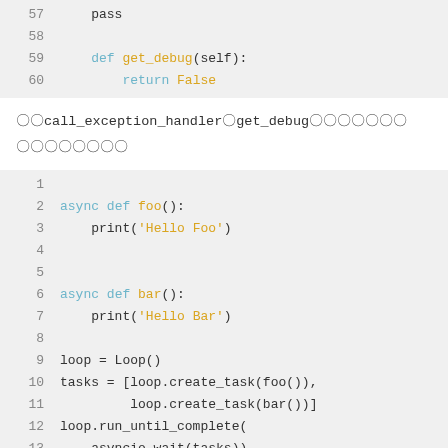[Figure (screenshot): Python code block showing lines 57-60 with def get_debug(self) returning False]
〇〇call_exception_handler〇get_debug〇〇〇〇〇〇〇
〇〇〇〇〇〇〇〇
[Figure (screenshot): Python code block showing lines 1-13 with async def foo, async def bar, loop = Loop(), tasks, loop.run_until_complete, asyncio.wait(tasks)]